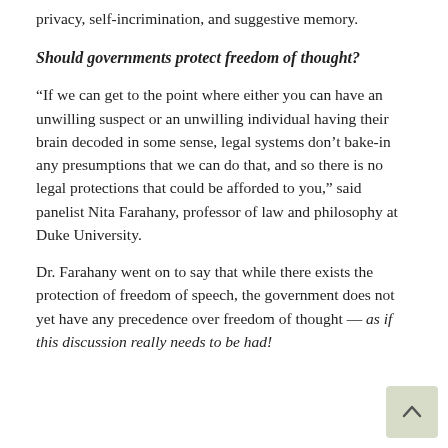privacy, self-incrimination, and suggestive memory.
Should governments protect freedom of thought?
“If we can get to the point where either you can have an unwilling suspect or an unwilling individual having their brain decoded in some sense, legal systems don’t bake-in any presumptions that we can do that, and so there is no legal protections that could be afforded to you,” said panelist Nita Farahany, professor of law and philosophy at Duke University.
Dr. Farahany went on to say that while there exists the protection of freedom of speech, the government does not yet have any precedence over freedom of thought — as if this discussion really needs to be had!